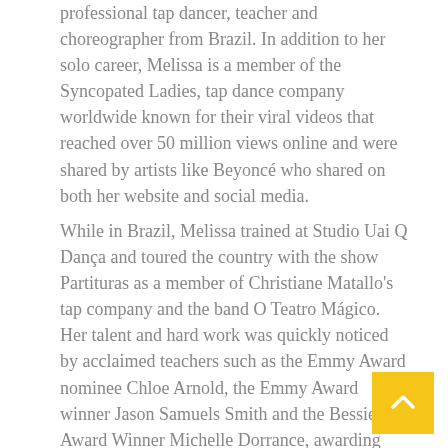professional tap dancer, teacher and choreographer from Brazil. In addition to her solo career, Melissa is a member of the Syncopated Ladies, tap dance company worldwide known for their viral videos that reached over 50 million views online and were shared by artists like Beyoncé who shared on both her website and social media.
While in Brazil, Melissa trained at Studio Uai Q Dança and toured the country with the show Partituras as a member of Christiane Matallo's tap company and the band O Teatro Mágico. Her talent and hard work was quickly noticed by acclaimed teachers such as the Emmy Award nominee Chloe Arnold, the Emmy Award winner Jason Samuels Smith and the Bessie Award Winner Michelle Dorrance, awarding her with scholarships to